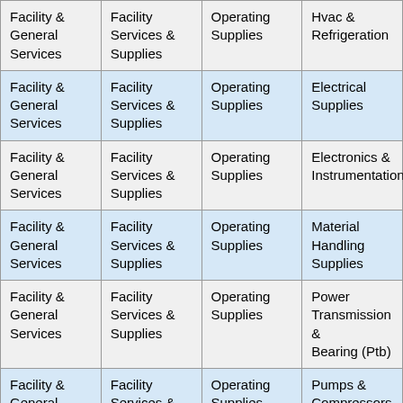| Facility & General Services | Facility Services & Supplies | Operating Supplies | Hvac & Refrigeration |
| Facility & General Services | Facility Services & Supplies | Operating Supplies | Electrical Supplies |
| Facility & General Services | Facility Services & Supplies | Operating Supplies | Electronics & Instrumentation |
| Facility & General Services | Facility Services & Supplies | Operating Supplies | Material Handling Supplies |
| Facility & General Services | Facility Services & Supplies | Operating Supplies | Power Transmission & Bearing (Ptb) |
| Facility & General Services | Facility Services & Supplies | Operating Supplies | Pumps & Compressors |
| Facility & General Services | Facility Services & Supplies | Operating Supplies | Plumbing Supplies |